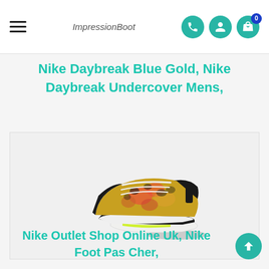ImpressionBoot — navigation header with hamburger menu, logo, phone, user, and cart icons
Nike Daybreak Blue Gold, Nike Daybreak Undercover Mens,
[Figure (photo): Colorful floral/leopard print Nike sneaker photographed from the side, showing black upper with multicolor pattern, white sole, and lime green accent on the bottom.]
Nike Outlet Shop Online Uk, Nike Foot Pas Cher,